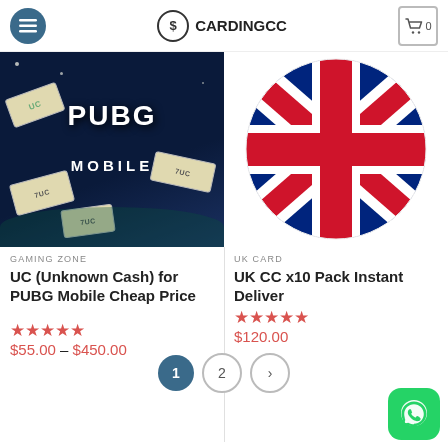CARDINGCC
[Figure (photo): PUBG Mobile game artwork with floating UC currency notes on dark blue background]
GAMING ZONE
UC (Unknown Cash) for PUBG Mobile Cheap Price
$55.00 – $450.00
[Figure (photo): UK Union Jack flag in circular crop]
UK CARD
UK CC x10 Pack Instant Deliver
$120.00